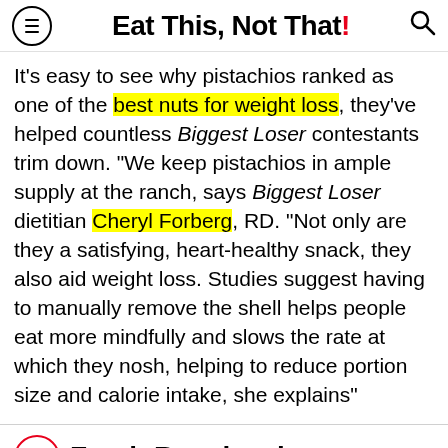Eat This, Not That!
It's easy to see why pistachios ranked as one of the best nuts for weight loss, they've helped countless Biggest Loser contestants trim down. "We keep pistachios in ample supply at the ranch, says Biggest Loser dietitian Cheryl Forberg, RD. "Not only are they a satisfying, heart-healthy snack, they also aid weight loss. Studies suggest having to manually remove the shell helps people eat more mindfully and slows the rate at which they nosh, helping to reduce portion size and calorie intake, she explains"
11 Fresh Raspberries